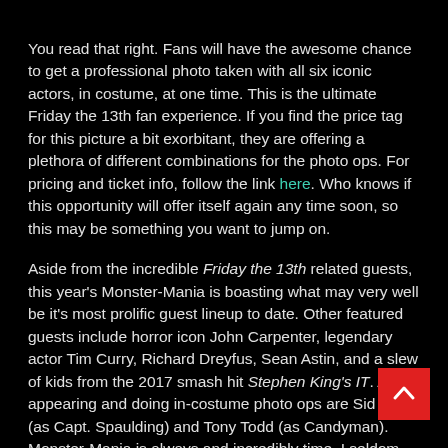You read that right. Fans will have the awesome chance to get a professional photo taken with all six iconic actors, in costume, at one time. This is the ultimate Friday the 13th fan experience. If you find the price tag for this picture a bit exorbitant, they are offering a plethora of different combinations for the photo ops. For pricing and ticket info, follow the link here. Who knows if this opportunity will offer itself again any time soon, so this may be something you want to jump on.
Aside from the incredible Friday the 13th related guests, this year's Monster-Mania is boasting what may very well be it's most prolific guest lineup to date. Other featured guests include horror icon John Carpenter, legendary actor Tim Curry, Richard Dreyfus, Sean Astin, and a slew of kids from the 2017 smash hit Stephen King's IT. Also appearing and doing in-costume photo ops are Sid Haig (as Capt. Spaulding) and Tony Todd (as Candyman). Monster-Mania is always and incredibly time, I seldom miss it. You also should definitely be there!
[Figure (other): Red back-to-top button with white upward chevron arrow in bottom-right corner]